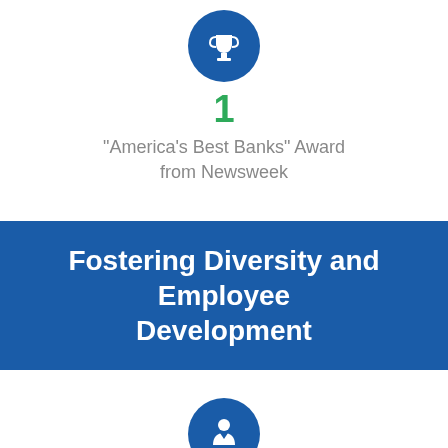[Figure (infographic): Blue circle icon with a trophy/award cup symbol in white]
1
"America's Best Banks" Award from Newsweek
Fostering Diversity and Employee Development
[Figure (infographic): Blue circle icon with a female person/professional symbol in white]
25%
of Board of Directors are female
[Figure (infographic): Blue circle icon partially visible at bottom of page]